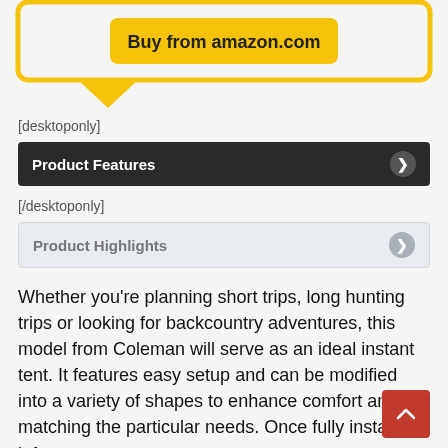[Figure (screenshot): Yellow-bordered speech bubble with 'Buy from amazon.com' button and triangle pointer at bottom-left]
[desktoponly]
Product Features
[/desktoponly]
Product Highlights
Whether you're planning short trips, long hunting trips or looking for backcountry adventures, this model from Coleman will serve as an ideal instant tent. It features easy setup and can be modified into a variety of shapes to enhance comfort and matching the particular needs. Once fully installed, it features great